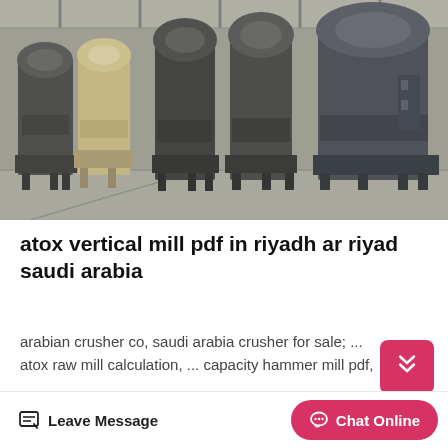[Figure (photo): Industrial factory floor with multiple large vertical grinding mill machines in a row, dark metallic equipment, steel framework overhead, concrete floor]
atox vertical mill pdf in riyadh ar riyad saudi arabia
arabian crusher co, saudi arabia crusher for sale; ... atox raw mill calculation, ... capacity hammer mill pdf, ...
Uncategorized Traditional Islam Blog